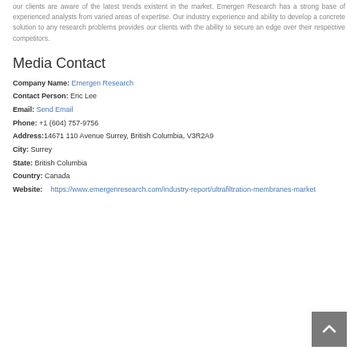our clients are aware of the latest trends existent in the market. Emergen Research has a strong base of experienced analysts from varied areas of expertise. Our industry experience and ability to develop a concrete solution to any research problems provides our clients with the ability to secure an edge over their respective competitors.
Media Contact
Company Name: Emergen Research
Contact Person: Eric Lee
Email: Send Email
Phone: +1 (604) 757-9756
Address:14671 110 Avenue Surrey, British Columbia, V3R2A9
City: Surrey
State: British Columbia
Country: Canada
Website: https://www.emergenresearch.com/industry-report/ultrafiltration-membranes-market